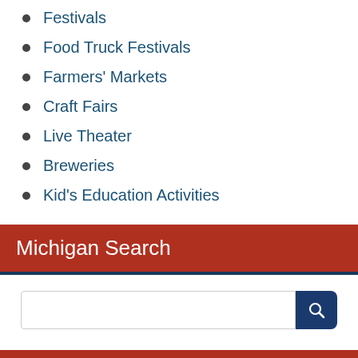Festivals
Food Truck Festivals
Farmers' Markets
Craft Fairs
Live Theater
Breweries
Kid's Education Activities
Michigan Search
[Figure (other): Search input box with a dark blue search button icon]